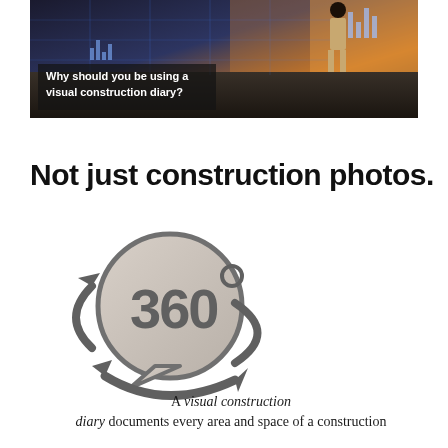[Figure (photo): Banner image of a person standing in a modern building looking at data overlays on glass, with sunset light. Overlaid text box reads: 'Why should you be using a visual construction diary?']
Not just construction photos.
[Figure (illustration): 360 degree icon: a circular arrow wrapping around a speech/thought bubble shape containing the text '360°' in large gray numerals.]
A visual construction diary documents every area and space of a construction